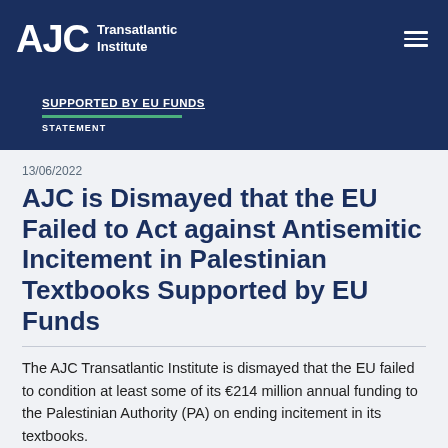AJC Transatlantic Institute
[Figure (screenshot): Banner showing text 'SUPPORTED BY EU FUNDS' with green underline and 'STATEMENT' below on dark navy background]
13/06/2022
AJC is Dismayed that the EU Failed to Act against Antisemitic Incitement in Palestinian Textbooks Supported by EU Funds
The AJC Transatlantic Institute is dismayed that the EU failed to condition at least some of its €214 million annual funding to the Palestinian Authority (PA) on ending incitement in its textbooks.